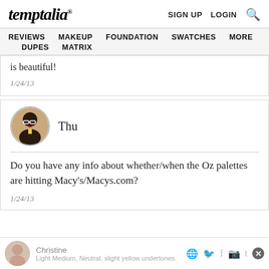temptalia® | SIGN UP  LOGIN  🔍
REVIEWS  MAKEUP  FOUNDATION  SWATCHES  MORE  DUPES  MATRIX
is beautiful!
1/24/13
Thu
Do you have any info about whether/when the Oz palettes are hitting Macy's/Macys.com?
1/24/13
Christine
Light Medium, Neutral, slight yellow undertones.